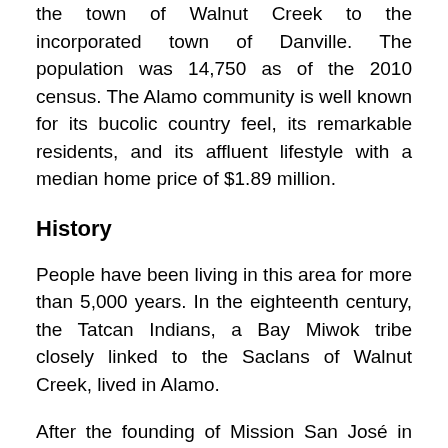the town of Walnut Creek to the incorporated town of Danville. The population was 14,750 as of the 2010 census. The Alamo community is well known for its bucolic country feel, its remarkable residents, and its affluent lifestyle with a median home price of $1.89 million.
History
People have been living in this area for more than 5,000 years. In the eighteenth century, the Tatcan Indians, a Bay Miwok tribe closely linked to the Saclans of Walnut Creek, lived in Alamo.
After the founding of Mission San José in 1797, its pastures spread throughout the Valley of San Ramon. The Mexican land grant Rancho San Ramon was granted to Mariano Castro and his uncle Bartolo Pacheco in 1833. It covered Danville and Alamo, today. Castro was the owner of